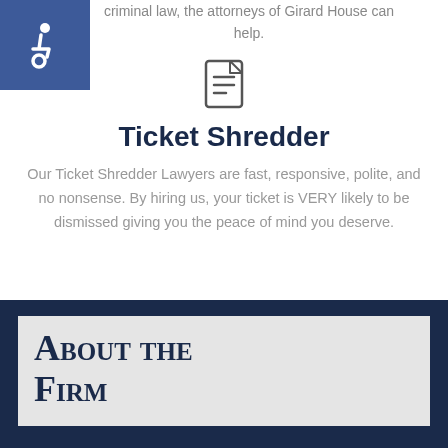criminal law, the attorneys of Girard House can help.
[Figure (illustration): Document/file icon]
Ticket Shredder
Our Ticket Shredder Lawyers are fast, responsive, polite, and no nonsense. By hiring us, your ticket is VERY likely to be dismissed giving you the peace of mind you deserve.
About the Firm